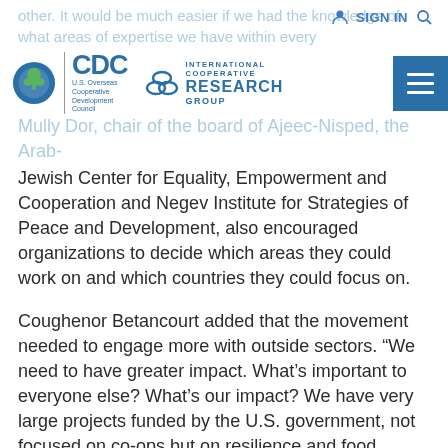other. It would be much easier if we had the knowledge of what areas of expertise we have within every
[Figure (logo): OCDC (U.S. Overseas Cooperative Development Council) and International Cooperative Research Group logos with hamburger menu button]
Mully Dor, chair of the board of Ajeec-Nisped, the Arab-Jewish Center for Equality, Empowerment and Cooperation and Negev Institute for Strategies of Peace and Development, also encouraged organizations to decide which areas they could work on and which countries they could focus on.
Coughenor Betancourt added that the movement needed to engage more with outside sectors. “We need to have greater impact. What’s important to everyone else? What’s our impact? We have very large projects funded by the U.S. government, not focused on co-ops but on resilience and food security. Nobody wants to talk about co-ops but about development objectives,” she said, adding that cooperative apex organizations need to show how they